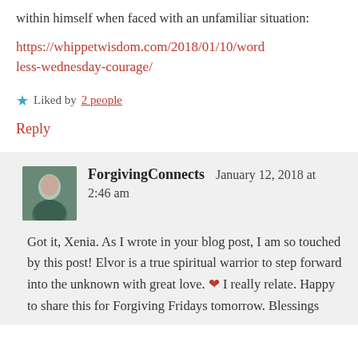within himself when faced with an unfamiliar situation:
https://whippetwisdom.com/2018/01/10/wordless-wednesday-courage/
Liked by 2 people
Reply
ForgivingConnects   January 12, 2018 at 2:46 am
Got it, Xenia. As I wrote in your blog post, I am so touched by this post! Elvor is a true spiritual warrior to step forward into the unknown with great love. ❤ I really relate. Happy to share this for Forgiving Fridays tomorrow. Blessings